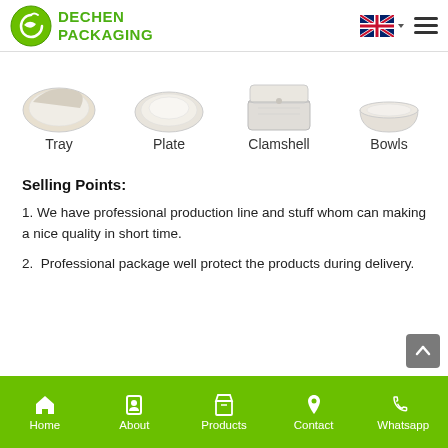DECHEN PACKAGING
[Figure (photo): Product category images showing Tray, Plate, Clamshell, and Bowls packaging products in white/beige colors]
Tray   Plate   Clamshell   Bowls
Selling Points:
1. We have professional production line and stuff whom can making a nice quality in short time.
2.  Professional package well protect the products during delivery.
Home   About   Products   Contact   Whatsapp